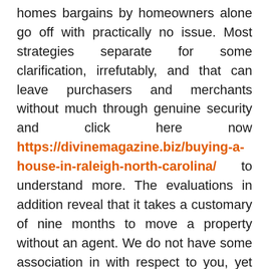homes bargains by homeowners alone go off with practically no issue. Most strategies separate for some clarification, irrefutably, and that can leave purchasers and merchants without much through genuine security and click here now https://divinemagazine.biz/buying-a-house-in-raleigh-north-carolina/ to understand more. The evaluations in addition reveal that it takes a customary of nine months to move a property without an agent. We do not have some association in with respect to you, yet that is a unimaginable time period and a ton can happen in nine months. In the event that you are relying on a home strategy to help you with joining another property, you cannot bear staying by nine months or longer to